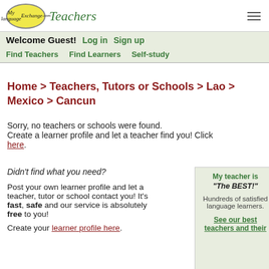MyLanguageExchange.com Teachers — Welcome Guest! Log in Sign up | Find Teachers Find Learners Self-study
Home > Teachers, Tutors or Schools > Lao > Mexico > Cancun
Sorry, no teachers or schools were found. Create a learner profile and let a teacher find you! Click here.
Didn't find what you need?

Post your own learner profile and let a teacher, tutor or school contact you! It's fast, safe and our service is absolutely free to you!

Create your learner profile here.
My teacher is "The BEST!"

Hundreds of satisfied language learners.

See our best teachers and their